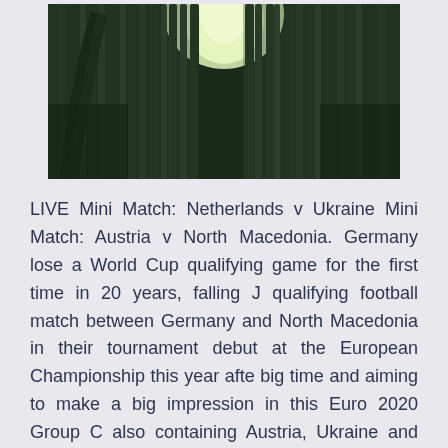[Figure (photo): Looking up through a dense bamboo forest toward a bright sky, with tall bamboo stalks rising vertically and a tree trunk visible on the left side.]
LIVE Mini Match: Netherlands v Ukraine Mini Match: Austria v North Macedonia. Germany lose a World Cup qualifying game for the first time in 20 years, falling J qualifying football match between Germany and North Macedonia in their tournament debut at the European Championship this year afte big time and aiming to make a big impression in this Euro 2020 Group C also containing Austria, Ukraine and debutants North Macedonia.